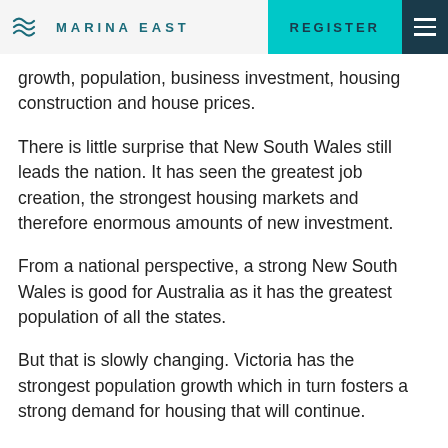MARINA EAST | REGISTER
growth, population, business investment, housing construction and house prices.
There is little surprise that New South Wales still leads the nation. It has seen the greatest job creation, the strongest housing markets and therefore enormous amounts of new investment.
From a national perspective, a strong New South Wales is good for Australia as it has the greatest population of all the states.
But that is slowly changing. Victoria has the strongest population growth which in turn fosters a strong demand for housing that will continue.